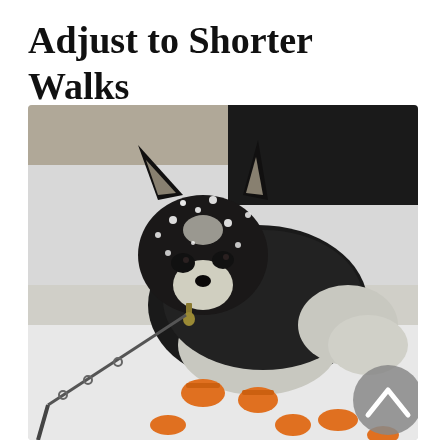Adjust to Shorter Walks
[Figure (photo): A small black and white Chihuahua or Papillon mix dog wearing orange booties/boots and a dark coat/sweater, standing in snow on a leash. Snowflakes are visible on the dog's fur and ears.]